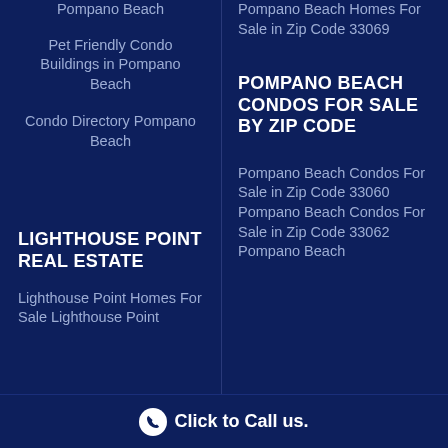Pompano Beach
Pet Friendly Condo Buildings in Pompano Beach
Condo Directory Pompano Beach
LIGHTHOUSE POINT REAL ESTATE
Lighthouse Point Homes For Sale Lighthouse Point
Pompano Beach Homes For Sale in Zip Code 33069
POMPANO BEACH CONDOS FOR SALE BY ZIP CODE
Pompano Beach Condos For Sale in Zip Code 33060
Pompano Beach Condos For Sale in Zip Code 33062
Pompano Beach
Click to Call us.